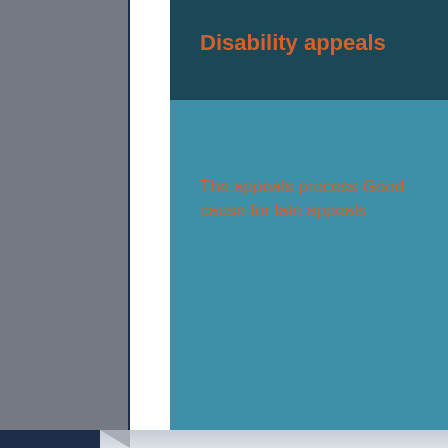Disability appeals
The appeals process Good cause for late appeals
Areas Served: We handle Social Security disability clai...
Counties: Fresno, Kern, Kings, Madera, and Tulare.
Cities: Fresno County: Fresno, Clovis, and Reedley. Ker... County: Madera. Tulare County: Visalia, Tulare, and Por...
Bakersfield Disability Law Office: 1801 Oak Street, Ba...
Experienced disability lawyers in Fresno:Oren & Ore...